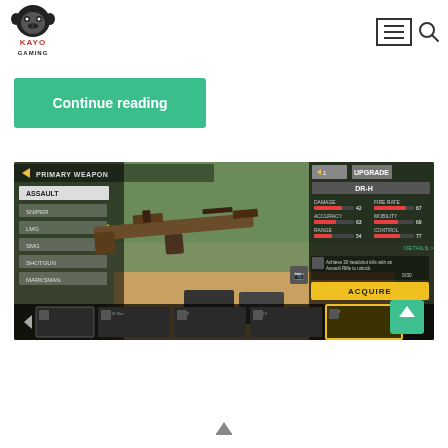[Figure (logo): Kayo Gaming logo — gorilla head with text KAYO GAMING below]
[Figure (other): Hamburger menu button (three horizontal lines in a rectangle border) and a search magnifying glass icon]
Continue reading
[Figure (screenshot): Mobile game screenshot showing Primary Weapon selection screen with Assault, Sniper, LMG, SMG, Shotgun, Marksman categories. Center shows an assault rifle. Right panel shows DR-H weapon stats (Damage, Fire Rate, Accuracy, Mobility, Range, Control) and ACQUIRE button. Bottom weapon carousel shows multiple locked weapons.]
[Figure (other): Scroll-up arrow button (teal/green background with upward arrow)]